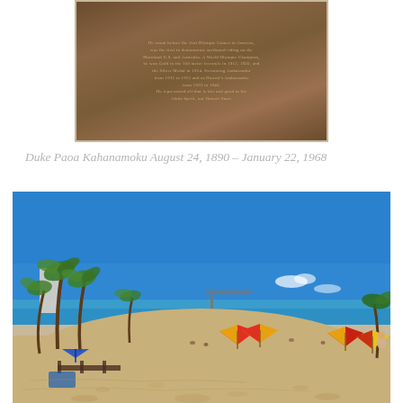[Figure (photo): Close-up photo of a bronze memorial plaque with text about Duke Paoa Kahanamoku, set against a stone background]
Duke Paoa Kahanamoku August 24, 1890 – January 22, 1968
[Figure (photo): Wide beach scene at Waikiki showing sandy beach in foreground, colorful umbrellas (red, yellow), palm trees on the left, ocean and pier in the background, under a clear blue sky with beachgoers relaxing]